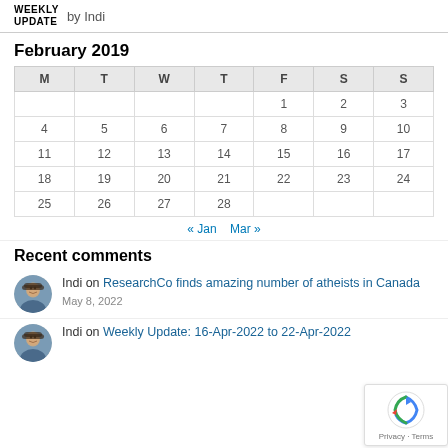WEEKLY UPDATE by Indi
February 2019
| M | T | W | T | F | S | S |
| --- | --- | --- | --- | --- | --- | --- |
|  |  |  |  | 1 | 2 | 3 |
| 4 | 5 | 6 | 7 | 8 | 9 | 10 |
| 11 | 12 | 13 | 14 | 15 | 16 | 17 |
| 18 | 19 | 20 | 21 | 22 | 23 | 24 |
| 25 | 26 | 27 | 28 |  |  |  |
« Jan   Mar »
Recent comments
Indi on ResearchCo finds amazing number of atheists in Canada
May 8, 2022
Indi on Weekly Update: 16-Apr-2022 to 22-Apr-2022